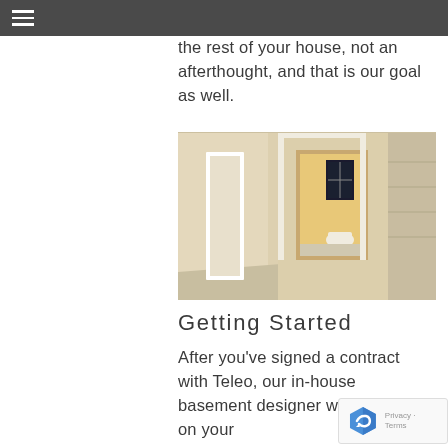the rest of your house, not an afterthought, and that is our goal as well.
[Figure (photo): Interior hallway of a finished basement with cream/beige walls, white trim doors, a bathroom visible with toilet and mosaic tile floor, and stairs visible on the right side.]
Getting Started
After you've signed a contract with Teleo, our in-house basement designer will get busy on your